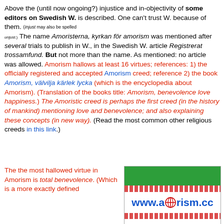Above the (until now ongoing?) injustice and in-objectivity of some editors on Swedish W. is described. One can't trust W. because of them. (Injust may also be spelled unjust.) The name Amoristerna, kyrkan för amorism was mentioned after several trials to publish in W., in the Swedish W. article Registrerat trossamfund. But not more than the name. As mentioned: no article was allowed. Amorism hallows at least 16 virtues; references: 1) the officially registered and accepted Amorism creed; reference 2) the book Amorism, välvilja kärlek lycka (which is the encyclopedia about Amorism). (Translation of the books title: Amorism, benevolence love happiness.) The Amoristic creed is perhaps the first creed (in the history of mankind) mentioning love and benevolence; and also explaining these concepts (in new way). (Read the most common other religious creeds in this link.)
The the most hallowed virtue in Amorism is total benevolence. (Which is a more exactly defined
[Figure (screenshot): Website screenshot showing www.amorism.cc with green header bar, red patterned decorative bars, and the URL in blue with a logo]